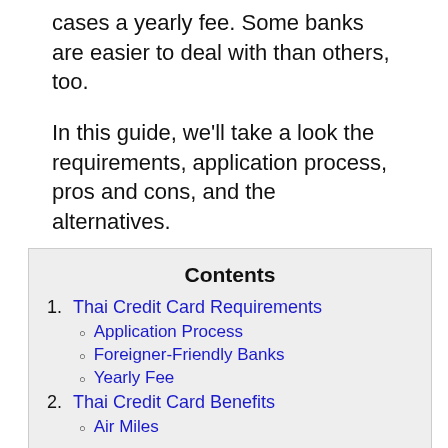cases a yearly fee. Some banks are easier to deal with than others, too.
In this guide, we'll take a look the requirements, application process, pros and cons, and the alternatives.
Contents
1. Thai Credit Card Requirements
Application Process
Foreigner-Friendly Banks
Yearly Fee
2. Thai Credit Card Benefits
Air Miles